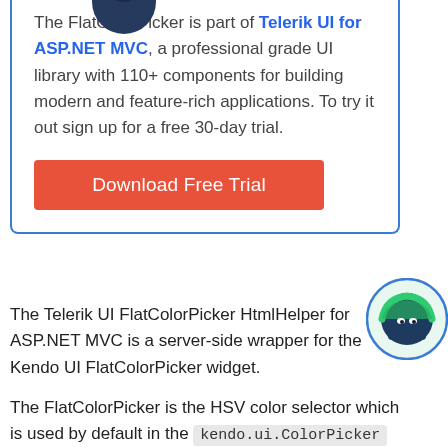[Figure (illustration): Ninja mascot character partially visible at the top of a promotional box with blue border]
The FlatColorPicker is part of Telerik UI for ASP.NET MVC, a professional grade UI library with 110+ components for building modern and feature-rich applications. To try it out sign up for a free 30-day trial.
[Figure (illustration): Orange/red Download Free Trial button]
[Figure (illustration): Ninja mascot character in a circle on the right side of the page]
The Telerik UI FlatColorPicker HtmlHelper for ASP.NET MVC is a server-side wrapper for the Kendo UI FlatColorPicker widget.
The FlatColorPicker is the HSV color selector which is used by default in the kendo.ui.ColorPicker popup when no palette is set.
Demo page for the FlatColorPicker